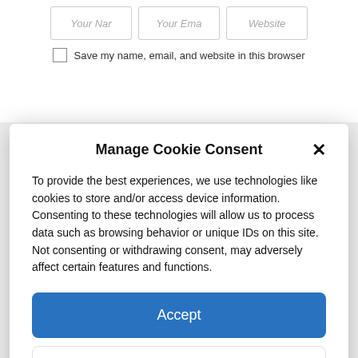[Figure (screenshot): Partial web form with three input fields (Your Name, Your Email, Website) and a checkbox row saying 'Save my name, email, and website in this browser']
Manage Cookie Consent
To provide the best experiences, we use technologies like cookies to store and/or access device information. Consenting to these technologies will allow us to process data such as browsing behavior or unique IDs on this site. Not consenting or withdrawing consent, may adversely affect certain features and functions.
Accept
Deny
View preferences
Privacy Policy